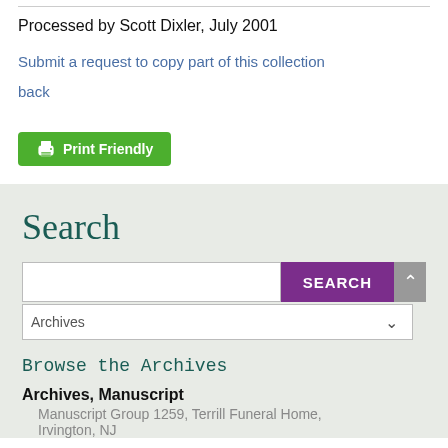Processed by Scott Dixler, July 2001
Submit a request to copy part of this collection
back
[Figure (other): Green Print Friendly button with printer icon]
Search
[Figure (screenshot): Search input field with purple SEARCH button and Archives dropdown selector]
Browse the Archives
Archives, Manuscript
Manuscript Group 1259, Terrill Funeral Home, Irvington, NJ